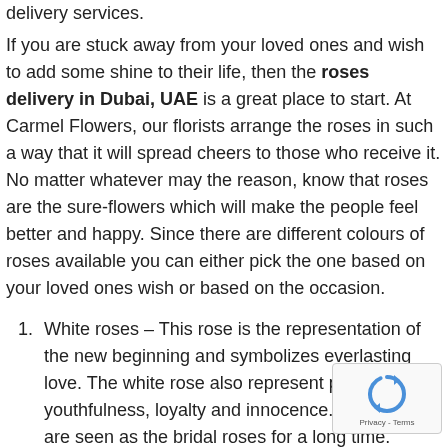delivery services.
If you are stuck away from your loved ones and wish to add some shine to their life, then the roses delivery in Dubai, UAE is a great place to start. At Carmel Flowers, our florists arrange the roses in such a way that it will spread cheers to those who receive it. No matter whatever may the reason, know that roses are the sure-flowers which will make the people feel better and happy. Since there are different colours of roses available you can either pick the one based on your loved ones wish or based on the occasion.
White roses – This rose is the representation of the new beginning and symbolizes everlasting love. The white rose also represent purity, youthfulness, loyalty and innocence. These roses are seen as the bridal roses for a long time.
Red roses – Probably the most popular and well-known roses are the red roses. They symbolize the true love and passion towards someone. Also, the red roses...